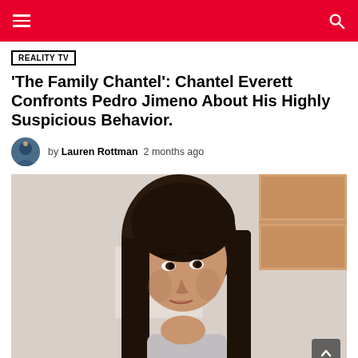Navigation bar with menu and search icons
REALITY TV
'The Family Chantel': Chantel Everett Confronts Pedro Jimeno About His Highly Suspicious Behavior.
by Lauren Rottman   2 months ago
[Figure (photo): A young woman with long dark hair looking to one side, indoors with a cabinet and pictures on the wall in the background. Still from The Family Chantel TV show.]